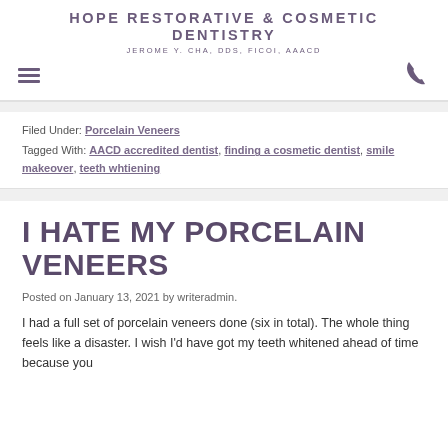HOPE RESTORATIVE & COSMETIC DENTISTRY
JEROME Y. CHA, DDS, FICOI, AAACD
Filed Under: Porcelain Veneers
Tagged With: AACD accredited dentist, finding a cosmetic dentist, smile makeover, teeth whtiening
I HATE MY PORCELAIN VENEERS
Posted on January 13, 2021 by writeradmin.
I had a full set of porcelain veneers done (six in total). The whole thing feels like a disaster. I wish I'd have got my teeth whitened ahead of time because you